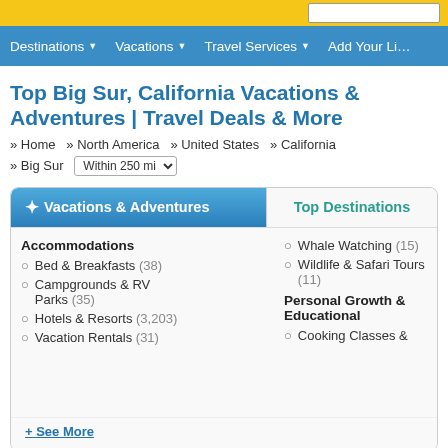Destinations | Vacations | Travel Services | Add Your Listing
Top Big Sur, California Vacations & Adventures | Travel Deals & More
» Home » North America » United States » California » Big Sur  Within 250 mi
Vacations & Adventures
Top Destinations
Accommodations
Bed & Breakfasts (38)
Campgrounds & RV Parks (35)
Hotels & Resorts (3,203)
Vacation Rentals (31)
Whale Watching (15)
Wildlife & Safari Tours (11)
Personal Growth & Educational
Cooking Classes &
+ See More
— Vacations 1 - 20 of 3,769